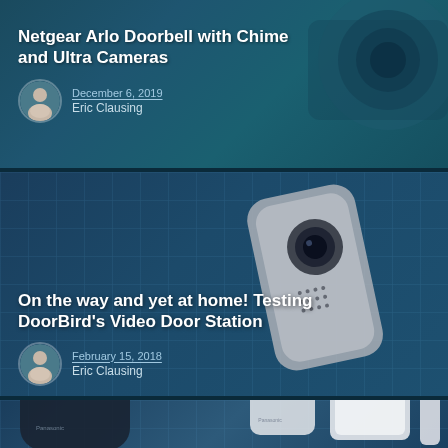[Figure (photo): Article card with dark teal camera background image. Title: Netgear Arlo Doorbell with Chime and Ultra Cameras. Date: December 6, 2019. Author: Eric Clausing.]
Netgear Arlo Doorbell with Chime and Ultra Cameras
December 6, 2019
Eric Clausing
[Figure (photo): Article card with DoorBird video doorbell device on blue grid cutting mat background. Title: On the way and yet at home! Testing DoorBird's Video Door Station. Date: February 15, 2018. Author: Eric Clausing.]
On the way and yet at home! Testing DoorBird's Video Door Station
February 15, 2018
Eric Clausing
[Figure (photo): Partial article card showing Panasonic smart home security devices on blue grid background. Card is cropped at bottom of page.]